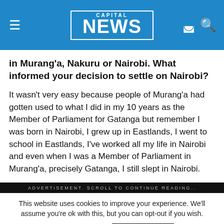CAPITAL NEWS
in Murang'a, Nakuru or Nairobi. What informed your decision to settle on Nairobi?
It wasn't very easy because people of Murang'a had gotten used to what I did in my 10 years as the Member of Parliament for Gatanga but remember I was born in Nairobi, I grew up in Eastlands, I went to school in Eastlands, I've worked all my life in Nairobi and even when I was a Member of Parliament in Murang'a, precisely Gatanga, I still slept in Nairobi.
ADVERTISEMENT. SCROLL TO CONTINUE READING..
This website uses cookies to improve your experience. We'll assume you're ok with this, but you can opt-out if you wish.
Cookie settings
ACCEPT